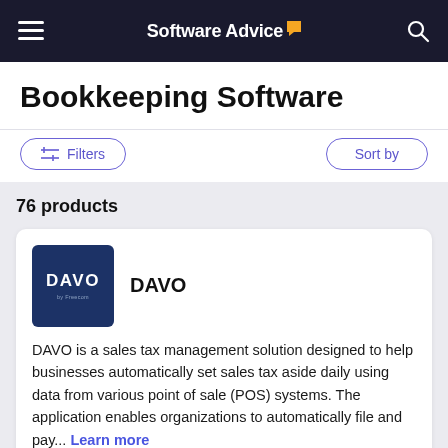Software Advice
Bookkeeping Software
76 products
[Figure (logo): DAVO by Freecom logo — white text on dark navy blue square background]
DAVO
DAVO is a sales tax management solution designed to help businesses automatically set sales tax aside daily using data from various point of sale (POS) systems. The application enables organizations to automatically file and pay... Learn more